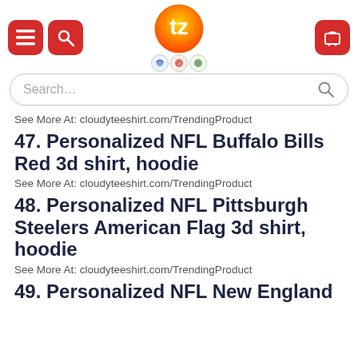Teezonce.com header with logo and navigation icons
Search...
See More At: cloudyteeshirt.com/TrendingProduct
47. Personalized NFL Buffalo Bills Red 3d shirt, hoodie
See More At: cloudyteeshirt.com/TrendingProduct
48. Personalized NFL Pittsburgh Steelers American Flag 3d shirt, hoodie
See More At: cloudyteeshirt.com/TrendingProduct
49. Personalized NFL New England...